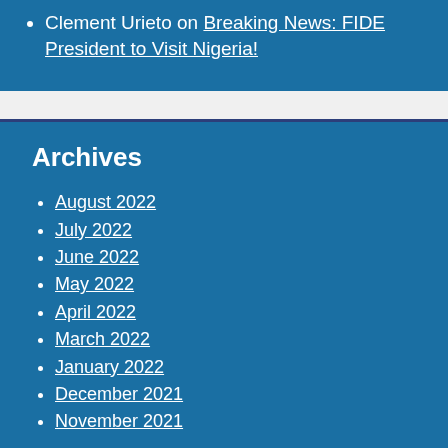Clement Urieto on Breaking News: FIDE President to Visit Nigeria!
Archives
August 2022
July 2022
June 2022
May 2022
April 2022
March 2022
January 2022
December 2021
November 2021